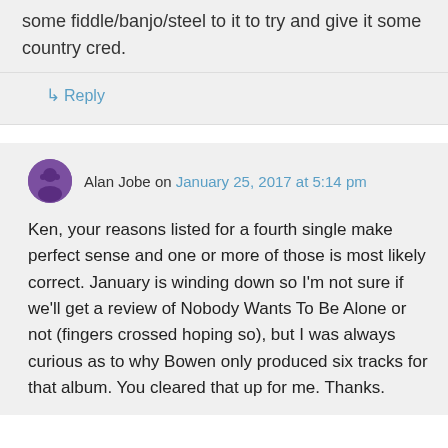some fiddle/banjo/steel to it to try and give it some country cred.
↳ Reply
Alan Jobe on January 25, 2017 at 5:14 pm
Ken, your reasons listed for a fourth single make perfect sense and one or more of those is most likely correct. January is winding down so I'm not sure if we'll get a review of Nobody Wants To Be Alone or not (fingers crossed hoping so), but I was always curious as to why Bowen only produced six tracks for that album. You cleared that up for me. Thanks.